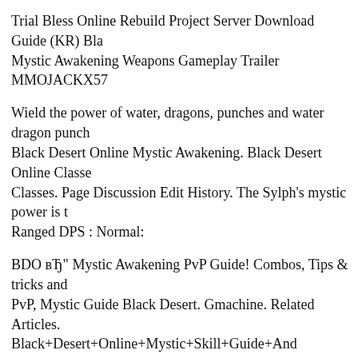Trial Bless Online Rebuild Project Server Download Guide (KR) Bla Mystic Awakening Weapons Gameplay Trailer MMOJACKX57
Wield the power of water, dragons, punches and water dragon punch Black Desert Online Mystic Awakening. Black Desert Online Classe Classes. Page Discussion Edit History. The Sylph's mystic power is t Ranged DPS : Normal:
BDO вЂ" Mystic Awakening PvP Guide! Combos, Tips & tricks and PvP, Mystic Guide Black Desert. Gmachine. Related Articles. Black+Desert+Online+Mystic+Skill+Guide+And Black+Desert+Online+Ultimate+Beginners+Guide. Black Desert Or Guide 2017-- Black Desert
I am a new player to Black desert online. I was recommended to play knight. Looking for a guide Black Desert Online: Mystic Character C always love making characters in this game. It doesnвЂ™t matter if nice.
Black Desert Online Black Desert Mobile Earning Almost 2" Ac M